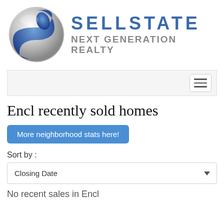[Figure (logo): Sellstate Next Generation Realty logo: a silver and blue S-shaped yin-yang style sphere icon alongside the text SELLSTATE in blue bold letters and NEXT GENERATION REALTY in gray letters]
[Figure (screenshot): Navigation bar with hamburger menu icon (three horizontal lines) on the right side, light gray background]
Encl recently sold homes
More neighborhood stats here!
Sort by :
Closing Date
No recent sales in Encl